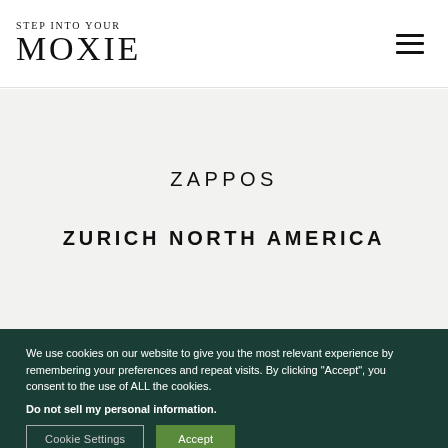STEP INTO YOUR MOXIE
ZAPPOS
ZURICH NORTH AMERICA
We use cookies on our website to give you the most relevant experience by remembering your preferences and repeat visits. By clicking "Accept", you consent to the use of ALL the cookies. Do not sell my personal information.